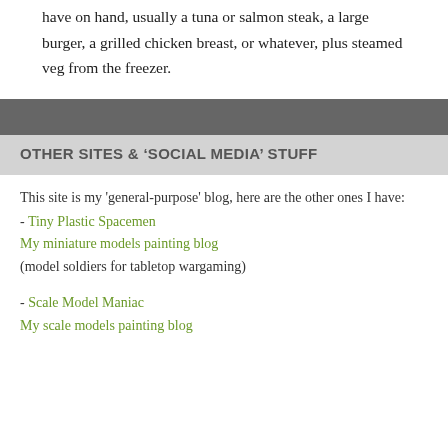have on hand, usually a tuna or salmon steak, a large burger, a grilled chicken breast, or whatever, plus steamed veg from the freezer.
OTHER SITES & ‘SOCIAL MEDIA’ STUFF
This site is my 'general-purpose' blog, here are the other ones I have:
- Tiny Plastic Spacemen
My miniature models painting blog
(model soldiers for tabletop wargaming)
- Scale Model Maniac
My scale models painting blog